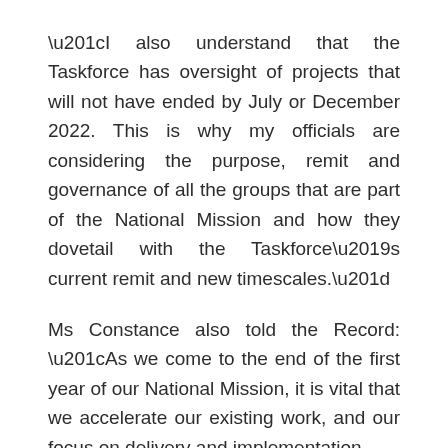“I also understand that the Taskforce has oversight of projects that will not have ended by July or December 2022. This is why my officials are considering the purpose, remit and governance of all the groups that are part of the National Mission and how they dovetail with the Taskforce’s current remit and new timescales.”
Ms Constance also told the Record: “As we come to the end of the first year of our National Mission, it is vital that we accelerate our existing work, and our focus on delivery and implementation.
“Recent quarterly statistics for suspected drug-related deaths showed a slight decrease, but it